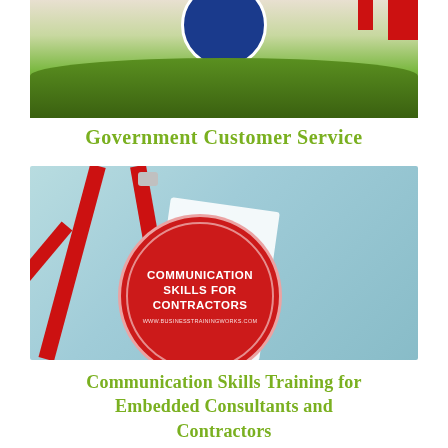[Figure (photo): Photo showing outdoor scene with green trees/bushes, a blue circular seal/logo partially visible at top center, and red flag stripes on the right side — Government Customer Service illustration]
Government Customer Service
[Figure (photo): Photo of a red lanyard with a round red badge/button on a light blue background. The badge reads 'COMMUNICATION SKILLS FOR CONTRACTORS' with 'WWW.BUSINESSTRAININGWORKS.COM' at the bottom, with a white card/badge holder visible behind it.]
Communication Skills Training for Embedded Consultants and Contractors